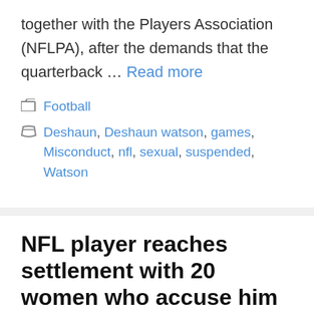together with the Players Association (NFLPA), after the demands that the quarterback … Read more
Football
Deshaun, Deshaun watson, games, Misconduct, nfl, sexual, suspended, Watson
NFL player reaches settlement with 20 women who accuse him of sexual